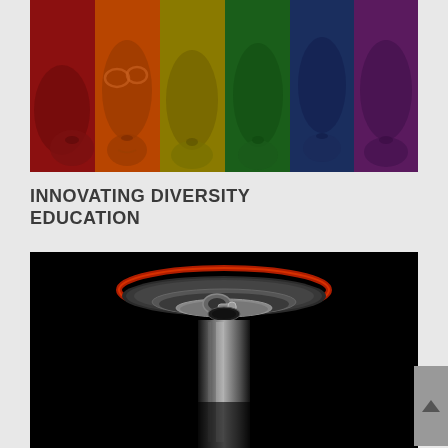[Figure (photo): A collage of six human faces in close-up, each tinted with a different rainbow color: red, orange, yellow, green, blue, and purple/magenta, representing diversity.]
INNOVATING DIVERSITY EDUCATION
[Figure (photo): Close-up macro photograph of the top of a beverage can, shot from a low angle against a black background, with a red glowing rim and metallic silver pull-tab in focus.]